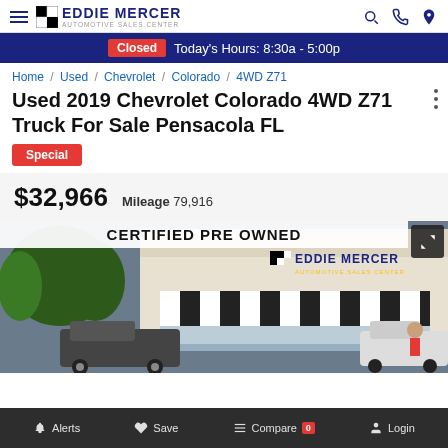Eddie Mercer Automotive Sales Center
Closed — Today's Hours: 8:30a - 5:00p
Home / Used / Chevrolet / Colorado / 4WD Z71
Used 2019 Chevrolet Colorado 4WD Z71 Truck For Sale Pensacola FL
Special
$32,966   Mileage 79,916
[Figure (photo): Dealership exterior photo showing Eddie Mercer Automotive Sales Center storefront with striped awning and trucks in lot. Banner reads CERTIFIED PRE OWNED.]
Alerts   Save   Compare 0   Login